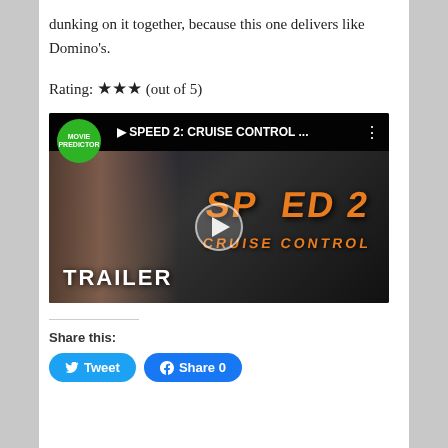dunking on it together, because this one delivers like Domino's.
Rating: ★★★ (out of 5)
[Figure (screenshot): YouTube-style video thumbnail for Speed 2: Cruise Control trailer, with Movie Predictor badge, film title in orange stylized text, a face in the left portion, and TRAILER text at the bottom. Includes a play button overlay.]
Share this:
Tweet   Share 0